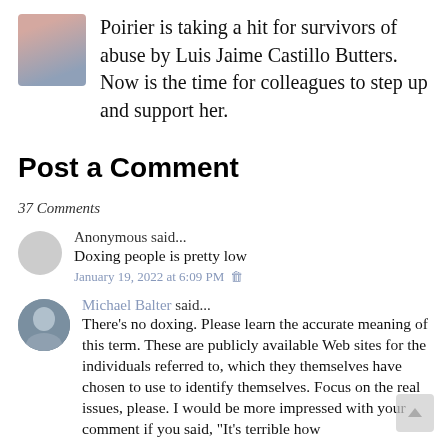Poirier is taking a hit for survivors of abuse by Luis Jaime Castillo Butters. Now is the time for colleagues to step up and support her.
Post a Comment
37 Comments
Anonymous said... Doxing people is pretty low
January 19, 2022 at 6:09 PM
Michael Balter said... There’s no doxing. Please learn the accurate meaning of this term. These are publicly available Web sites for the individuals referred to, which they themselves have chosen to use to identify themselves. Focus on the real issues, please. I would be more impressed with your comment if you said, “It’s terrible how